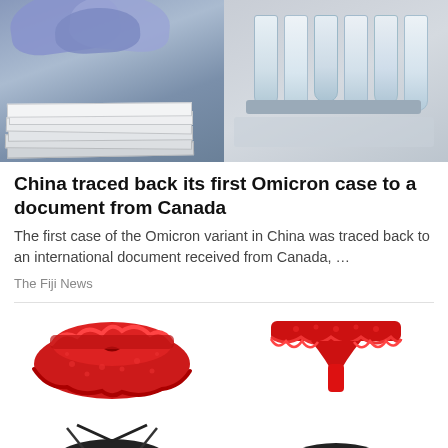[Figure (photo): Top image: left half shows purple/blue gloved hands handling papers or documents; right half shows laboratory test tubes or vials in a rack]
China traced back its first Omicron case to a document from Canada
The first case of the Omicron variant in China was traced back to an international document received from Canada, …
The Fiji News
[Figure (photo): Grid of four lingerie items: top-left red lace cheeky underwear, top-right red lace thong, bottom-left black lace bralette/mask style, bottom-right black lace underwear]